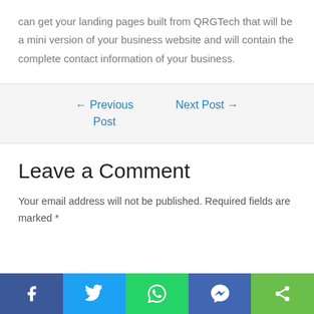can get your landing pages built from QRGTech that will be a mini version of your business website and will contain the complete contact information of your business.
← Previous Post
Next Post →
Leave a Comment
Your email address will not be published. Required fields are marked *